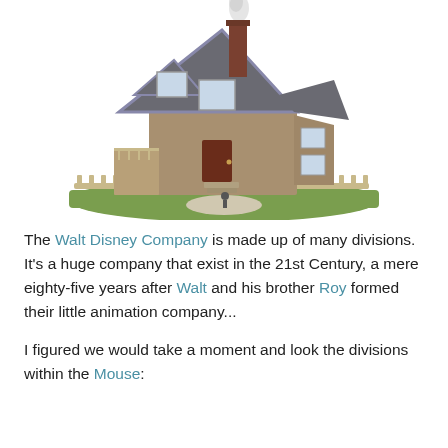[Figure (illustration): 3D rendered illustration of the house from Pixar's 'Up' animated film, showing a Victorian-style house with steep gabled roof, chimney with smoke, wood siding, bay window, front porch with steps, picket fence, and green lawn patch. The house is shown in a slightly elevated perspective view.]
The Walt Disney Company is made up of many divisions. It's a huge company that exist in the 21st Century, a mere eighty-five years after Walt and his brother Roy formed their little animation company...
I figured we would take a moment and look the divisions within the Mouse: